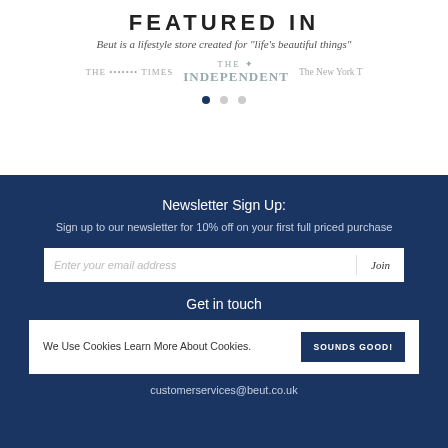FEATURED IN
Beut is a lifestyle store created for "life's beautiful things"
[Figure (logo): Logos of The Sunday Times, The Independent, and The New York Times arranged in a row]
Newsletter Sign Up:
Sign up to our newsletter for 10% off on your first full priced purchase
Get in touch
We Use Cookies Learn More About Cookies.
customerservices@beut.co.uk